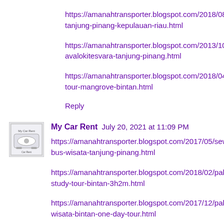https://amanahtransporter.blogspot.com/2018/08/kota-tanjung-pinang-kepulauan-riau.html
https://amanahtransporter.blogspot.com/2013/10/vihara-avalokitesvara-tanjung-pinang.html
https://amanahtransporter.blogspot.com/2018/04/paket-tour-mangrove-bintan.html
Reply
My Car Rent  July 20, 2021 at 11:09 PM
https://amanahtransporter.blogspot.com/2017/05/sewa-bus-wisata-tanjung-pinang.html
https://amanahtransporter.blogspot.com/2018/02/paket-study-tour-bintan-3h2m.html
https://amanahtransporter.blogspot.com/2017/12/paket-wisata-bintan-one-day-tour.html